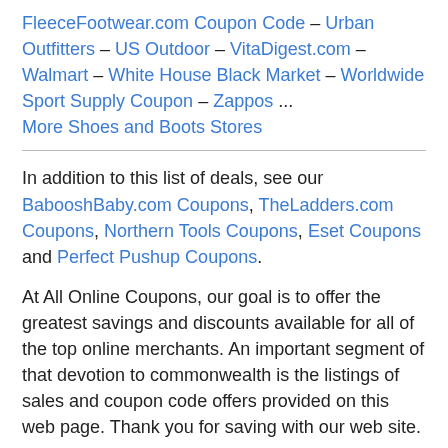FleeceFootwear.com Coupon Code – Urban Outfitters – US Outdoor – VitaDigest.com – Walmart – White House Black Market – Worldwide Sport Supply Coupon – Zappos ... More Shoes and Boots Stores
In addition to this list of deals, see our BabooshBaby.com Coupons, TheLadders.com Coupons, Northern Tools Coupons, Eset Coupons and Perfect Pushup Coupons.
At All Online Coupons, our goal is to offer the greatest savings and discounts available for all of the top online merchants. An important segment of that devotion to commonwealth is the listings of sales and coupon code offers provided on this web page. Thank you for saving with our web site.
We strive to keep our site as complete and accurate as possible. If you know of any any additional free deals or